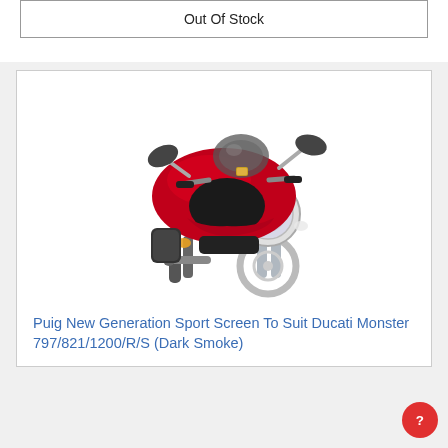Out Of Stock
[Figure (photo): Front view of a red Ducati Monster motorcycle with a dark smoke windscreen]
Puig New Generation Sport Screen To Suit Ducati Monster 797/821/1200/R/S (Dark Smoke)